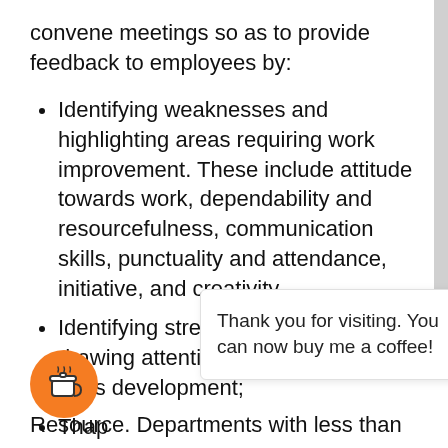convene meetings so as to provide feedback to employees by:
Identifying weaknesses and highlighting areas requiring work improvement. These include attitude towards work, dependability and resourcefulness, communication skills, punctuality and attendance, initiative, and creativity.
Identifying strengths as well as drawing attention to prospects for skills development;
Th... ap... wi... res...
Resource. Departments with less than